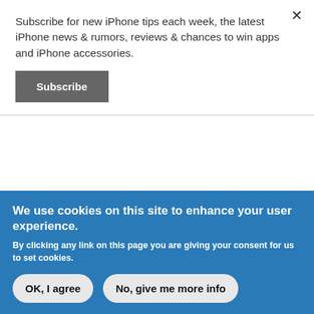Subscribe for new iPhone tips each week, the latest iPhone news & rumors, reviews & chances to win apps and iPhone accessories.
Subscribe
Anonymous replied on September 10, 2007 - 7:42am PERMALINK
After iTunes imports into the ITunes music library. Thats where you will rename it.
We use cookies on this site to enhance your user experience.
By clicking any link on this page you are giving your consent for us to set cookies.
OK, I agree
No, give me more info